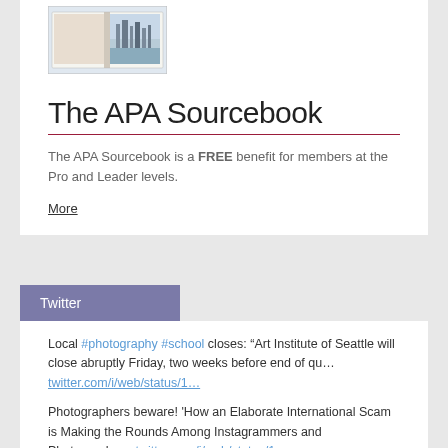[Figure (photo): A photo of an open book showing a cityscape photograph, displayed within a white card section at the top]
The APA Sourcebook
The APA Sourcebook is a FREE benefit for members at the Pro and Leader levels.
More
Twitter
Local #photography #school closes: “Art Institute of Seattle will close abruptly Friday, two weeks before end of qu… twitter.com/i/web/status/1…
Photographers beware! 'How an Elaborate International Scam is Making the Rounds Among Instagrammers and Photographe… twitter.com/i/web/status/1…